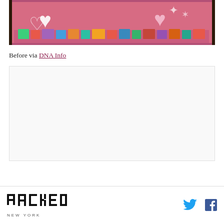[Figure (photo): Store window display with Valentine's Day decorations including pink and white hearts and colorful merchandise boxes]
Before via DNA Info
[Figure (other): Advertisement placeholder box]
RACKED NEW YORK